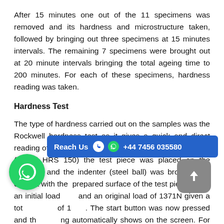After 15 minutes one out of the 11 specimens was removed and its hardness and microstructure taken, followed by bringing out three specimens at 15 minutes intervals. The remaining 7 specimens were brought out at 20 minute intervals bringing the total ageing time to 200 minutes. For each of these specimens, hardness reading was taken.
Hardness Test
The type of hardness carried out on the samples was the Rockwell hardness test as it gives a quick and direct reading of the hardness value (Model HRS 150) the test piece was placed on the machine and the indenter (steel ball) was brought into contact with the prepared surface of the test piece under an initial load and an original load of 1371N given a tot of 1. The start button was now pressed and the ng automatically shows on the screen. For each test piece,
[Figure (other): Blue banner overlay with 'Reach Us', phone icon, WhatsApp icon, and phone number +44 7456 035580]
[Figure (other): Green WhatsApp floating action button (circle)]
[Figure (other): Grey rounded square upload/share button with upward arrow icon]